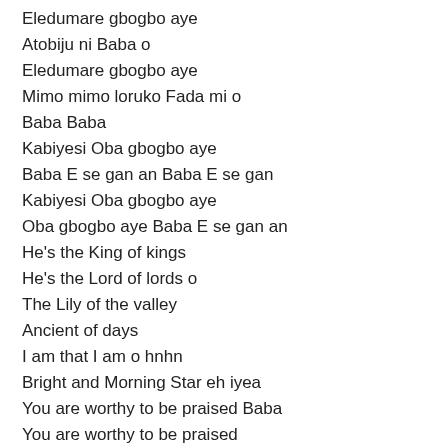Eledumare gbogbo aye
Atobiju ni Baba o
Eledumare gbogbo aye
Mimo mimo loruko Fada mi o
Baba Baba
Kabiyesi Oba gbogbo aye
Baba E se gan an Baba E se gan
Kabiyesi Oba gbogbo aye
Oba gbogbo aye Baba E se gan an
He's the King of kings
He's the Lord of lords o
The Lily of the valley
Ancient of days
I am that I am o hnhn
Bright and Morning Star eh iyea
You are worthy to be praised Baba
You are worthy to be praised
Kabiyesi Oba gbogbo aye
Baba E se gan an Baba E se gan an